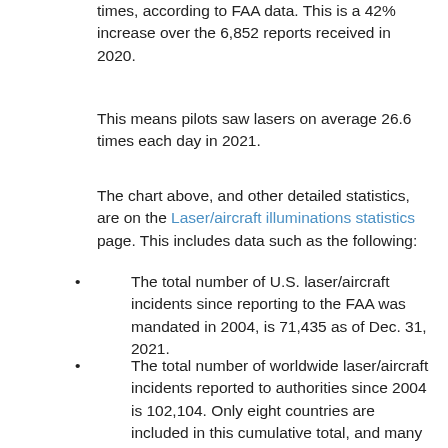times, according to FAA data. This is a 42% increase over the 6,852 reports received in 2020.
This means pilots saw lasers on average 26.6 times each day in 2021.
The chart above, and other detailed statistics, are on the Laser/aircraft illuminations statistics page. This includes data such as the following:
The total number of U.S. laser/aircraft incidents since reporting to the FAA was mandated in 2004, is 71,435 as of Dec. 31, 2021.
The total number of worldwide laser/aircraft incidents reported to authorities since 2004 is 102,104. Only eight countries are included in this cumulative total, and many of these do not have data for some years in the 2004-2021 time period, so the actual number of incidents is higher.